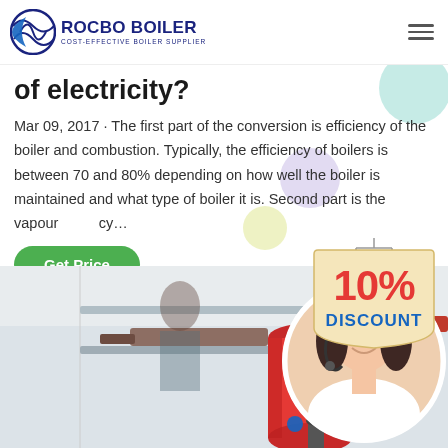[Figure (logo): Rocbo Boiler logo with crescent/globe icon and text 'ROCBO BOILER – COST-EFFECTIVE BOILER SUPPLIER']
of electricity?
Mar 09, 2017 · The first part of the conversion is efficiency of the boiler and combustion. Typically, the efficiency of boilers is between 70 and 80% depending on how well the boiler is maintained and what type of boiler it is. Second part is the vapour…cy…
[Figure (infographic): 10% DISCOUNT badge/sticker graphic in red and blue on cream background]
[Figure (photo): Photo of industrial boiler equipment (red cylindrical tank, pipes) overlaid with circular inset photo of a smiling female customer service representative wearing a headset]